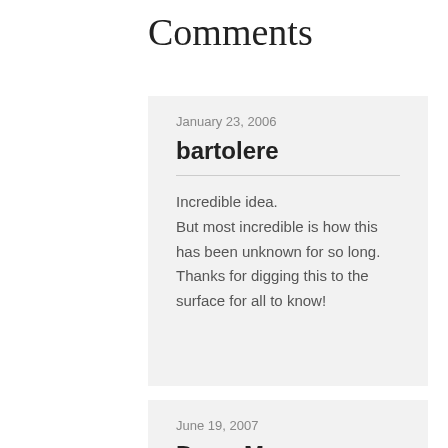Comments
January 23, 2006
bartolere
Incredible idea.
But most incredible is how this has been unknown for so long.
Thanks for digging this to the surface for all to know!
June 19, 2007
Doug Morrow
Let’s step back to first principals…
You say that “Flying an airship directly from the ground to orbit is not practical. An